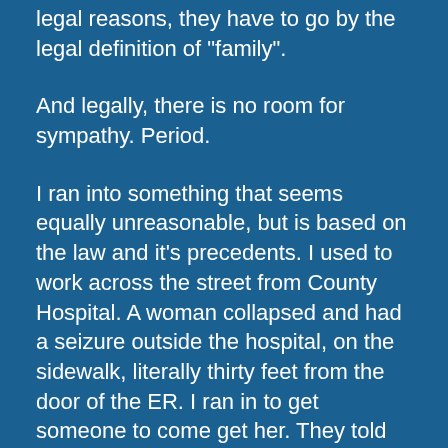legal reasons, they have to go by the legal definition of "family".
And legally, there is no room for sympathy. Period.
I ran into something that seems equally unreasonable, but is based on the law and it's precedents. I used to work across the street from County Hospital. A woman collapsed and had a seizure outside the hospital, on the sidewalk, literally thirty feet from the door of the ER. I ran in to get someone to come get her. They told me to call an ambulance. they would not get her nor would they go outside to see to her. I was dumbfounded. After thinking about it sometime later, I realized that it's all about their insurance. The hospital is not an ambulance service. It makes no difference in court if the person is thirty feet away or thirty miles. Call the ambulance.
You can thank the U.S. legal system and the insurance